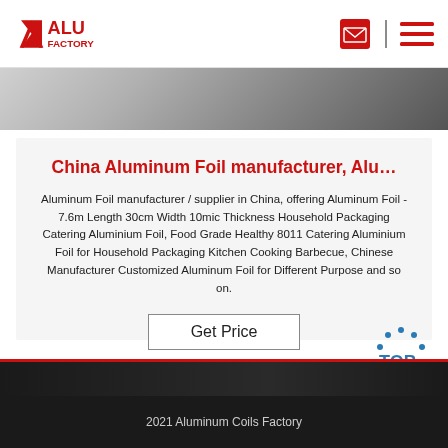ALU FACTORY
[Figure (photo): Close-up photo of aluminum foil material, silver/grey tones]
China Aluminum Foil manufacturer, Alu…
Aluminum Foil manufacturer / supplier in China, offering Aluminum Foil - 7.6m Length 30cm Width 10mic Thickness Household Packaging Catering Aluminium Foil, Food Grade Healthy 8011 Catering Aluminium Foil for Household Packaging Kitchen Cooking Barbecue, Chinese Manufacturer Customized Aluminum Foil for Different Purpose and so on.
Get Price
2021 Aluminum Coils Factory